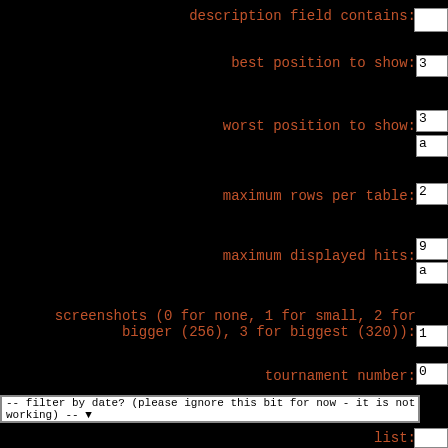description field contains:
best position to show: 3
worst position to show: 3 a
maximum rows per table: 2
maximum displayed hits: 9 a
screenshots (0 for none, 1 for small, 2 for bigger (256), 3 for biggest (320)): 1
tournament number: 0
-- filter by date? (please ignore this bit for now - it is not working) --
list:
s
c
U
s
list: